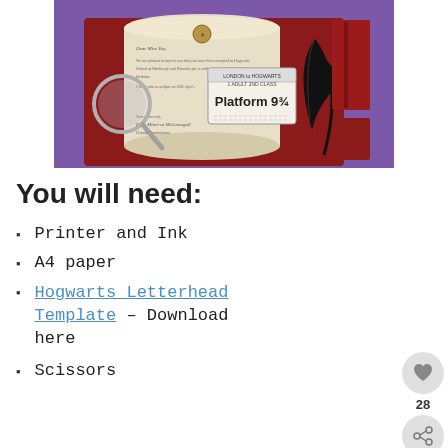[Figure (photo): A Harry Potter themed birthday party invitation displayed on a dark red book, with a scroll-style letter, a Platform 9¾ train ticket, a black feather quill, a magnifying glass, and red book covers arranged on a purple background.]
You will need:
Printer and Ink
A4 paper
Hogwarts Letterhead Template – Download here
Scissors